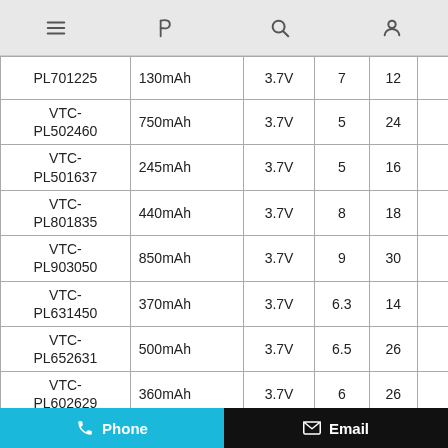Navigation bar with menu, flag, search, and user icons
| Model | Capacity | Voltage | Col4 | Col5 |
| --- | --- | --- | --- | --- |
| PL701225 | 130mAh | 3.7V | 7 | 12 |
| VTC-PL502460 | 750mAh | 3.7V | 5 | 24 |
| VTC-PL501637 | 245mAh | 3.7V | 5 | 16 |
| VTC-PL801835 | 440mAh | 3.7V | 8 | 18 |
| VTC-PL903050 | 850mAh | 3.7V | 9 | 30 |
| VTC-PL631450 | 370mAh | 3.7V | 6.3 | 14 |
| VTC-PL652631 | 500mAh | 3.7V | 6.5 | 26 |
| VTC-PL602629 | 360mAh | 3.7V | 6 | 26 |
Phone | Email